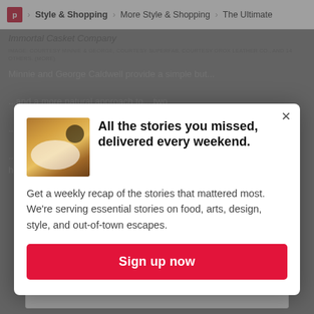Style & Shopping > More Style & Shopping > The Ultimate
Immortal Casket Company
IMAGE: COURTESY MINNIE & GEORGE, COURTESY SUPERFAB, COURTESY OROX LEATHER CO., AND 14 OTHERS. (MORE)
[Figure (screenshot): Newsletter signup modal popup with food photo, headline 'All the stories you missed, delivered every weekend.', body text about weekly recap, and red Sign up now button]
All the stories you missed, delivered every weekend.
Get a weekly recap of the stories that mattered most. We're serving essential stories on food, arts, design, style, and out-of-town escapes.
Sign up now
ADVERTISEMENT · STORY CONTINUES BELOW
[Figure (screenshot): Advertisement banner for 'What's Up Doc?' with Parade logo, subtext about Medical Professionals Directory, and Learn More button]